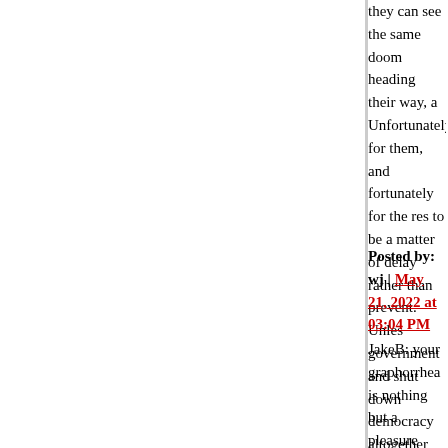they can see the same doom heading their way, a Unfortunately for them, and fortunately for the res to be a matter of delay rather than prevent. Unles government and shut down democracy altogether forever -- see Heinlein's ...If This Goes On
Posted by: wj | May 21, 2022 at 03:04 PM
JakeB: your graphorrhea is nothing but a pleasure from The Leopard on one of these threads just a d Pro Bono has displayed a very accurate knowledg description of the casual, incidental exploration of known rooms and/or wings of Donnafugata will st many other things.
I read the Book of the New Sun quartet last year, interesting, but not deeply engaging. That may ha than with it. Recently I have very much enjoyed th spinoff Provenance, and Arkady Martine's A Mem Desolation Called Peace, as well as Becky Cham last in particular had the rather unusual quality of cheered up. Actually, so did the Ancillary trilogy. J Emperor. So, after what I have already written ab